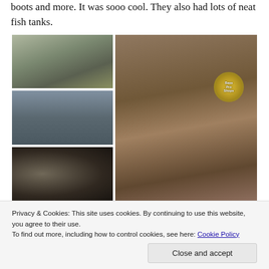boots and more. It was sooo cool. They also had lots of neat fish tanks.
[Figure (photo): Collage of four photos from a Bass Pro Shops visit: top-left shows a fish in a tank, middle-left shows children leaning over a fish tank display, bottom-left shows a dark underwater/tank view, and right side shows children posing with a large taxidermied grizzly bear in front of a Bass Pro Shops sign.]
Privacy & Cookies: This site uses cookies. By continuing to use this website, you agree to their use.
To find out more, including how to control cookies, see here: Cookie Policy
Close and accept